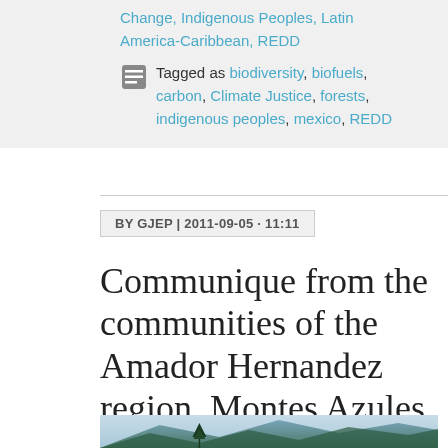Change, Indigenous Peoples, Latin America-Caribbean, REDD
Tagged as biodiversity, biofuels, carbon, Climate Justice, forests, indigenous peoples, mexico, REDD
BY GJEP | 2011-09-05 · 11:11
Communique from the communities of the Amador Hernandez region, Montes Azules, Lacandon Jungle
[Figure (photo): Mountain landscape with cloudy sky and tree in foreground, likely in the Lacandon Jungle / Montes Azules region of Mexico]